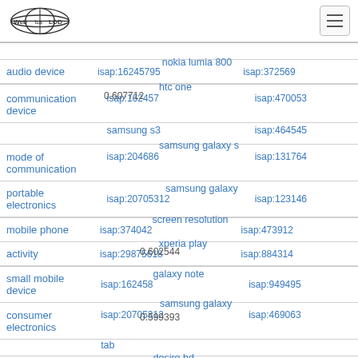Web isa LOD [logo] [hamburger menu]
| Category | ISAP ID | Term / Score | ISAP ID 2 |
| --- | --- | --- | --- |
| audio device | isap:16245795... | nokia lumia 800 / 0.607712 | isap:372569... |
| communication device | isap:162457... | htc one | isap:470053... |
|  |  | samsung s3 | isap:464545... |
| mode of communication | isap:204686... | samsung galaxy s | isap:131764... |
| portable electronics | isap:20705312... | samsung galaxy / 0.602544 | isap:123146... |
| mobile phone | isap:374042... | screen resolution | isap:473912... |
| activity | isap:29875618... | xperia play / 0.599393 | isap:884314... |
| small mobile device | isap:162458... | galaxy note | isap:949495... |
| consumer electronics | isap:20705312... | samsung galaxy tab / 0.597342 | isap:469063... |
| topic | isap:372594... | desire hd | isap:464981... |